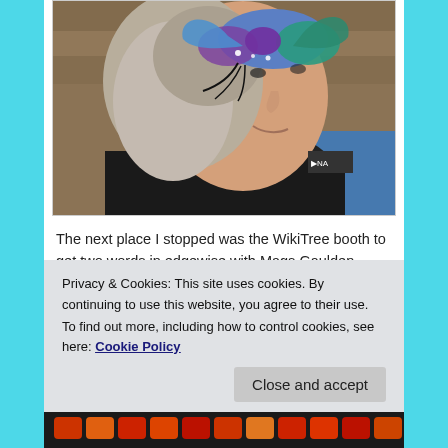[Figure (photo): Close-up photo of a woman with gray-blonde hair wearing a butterfly face paint design on her forehead/eye area with artistic colors (blue, purple, teal). She is wearing a dark jacket with an orange/red patterned scarf.]
The next place I stopped was the WikiTree booth to get two words in edgewise with Mags Gaulden.
Privacy & Cookies: This site uses cookies. By continuing to use this website, you agree to their use.
To find out more, including how to control cookies, see here: Cookie Policy
Close and accept
[Figure (photo): Partial bottom strip showing colorful objects, appears to be sushi or colorful food items.]